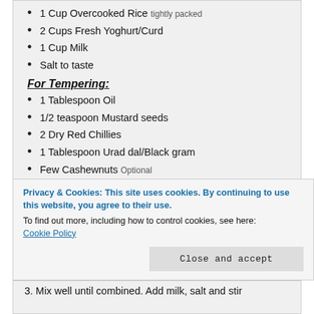1 Cup Overcooked Rice tightly packed
2 Cups Fresh Yoghurt/Curd
1 Cup Milk
Salt to taste
For Tempering:
1 Tablespoon Oil
1/2 teaspoon Mustard seeds
2 Dry Red Chillies
1 Tablespoon Urad dal/Black gram
Few Cashewnuts Optional
1 Tablespoon Grated ginger
3 Green chilies finely chopped
Few Curry Leaves
1 Tablespoon Coriander leaves
Privacy & Cookies: This site uses cookies. By continuing to use this website, you agree to their use. To find out more, including how to control cookies, see here: Cookie Policy
Close and accept
3. Mix well until combined. Add milk, salt and stir